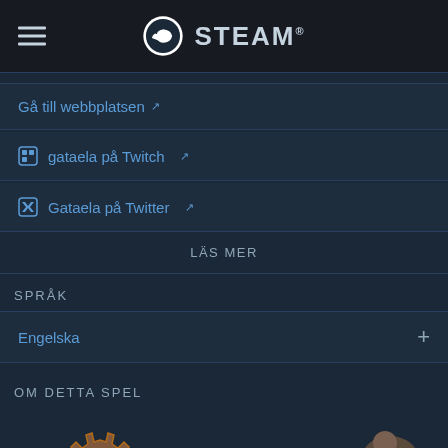STEAM
Gå till webbplatsen
gataela på Twitch
Gataela på Twitter
LÄS MER
SPRÅK
Engelska
OM DETTA SPEL
[Figure (illustration): Game artwork showing steampunk gear icons and a character illustration at the bottom of the page]